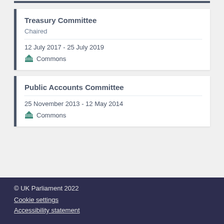Treasury Committee
Chaired
12 July 2017 - 25 July 2019
Commons
Public Accounts Committee
25 November 2013 - 12 May 2014
Commons
© UK Parliament 2022
Cookie settings
Accessibility statement